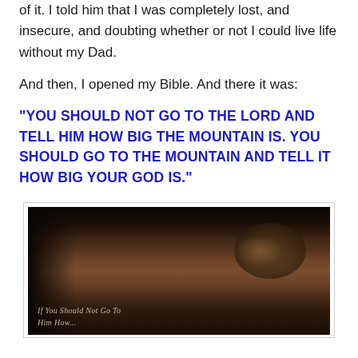of it. I told him that I was completely lost, and insecure, and doubting whether or not I could live life without my Dad.
And then, I opened my Bible. And there it was:
“YOU SHOULD NOT GO TO THE LORD AND TELL HIM HOW BIG THE MOUNTAIN IS. YOU SHOULD GO TO THE MOUNTAIN AND TELL IT HOW BIG YOUR GOD IS.”
[Figure (photo): A dark, moody photo showing what appears to be a handwritten note or card in dim lighting, with partially visible cursive text reading 'You should not go to' and 'Him how' — placed near what looks like a sleeping animal or soft textured surface.]